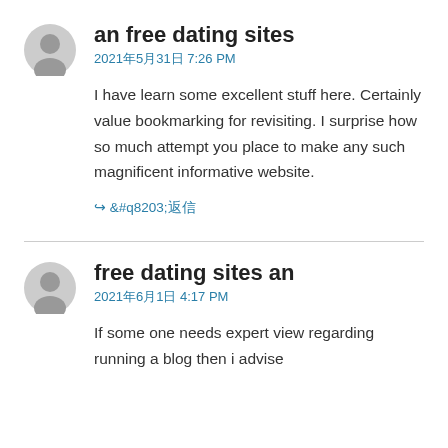an free dating sites
2021年5月31日 7:26 PM
I have learn some excellent stuff here. Certainly value bookmarking for revisiting. I surprise how so much attempt you place to make any such magnificent informative website.
↪ 返信
free dating sites an
2021年6月1日 4:17 PM
If some one needs expert view regarding running a blog then i advise